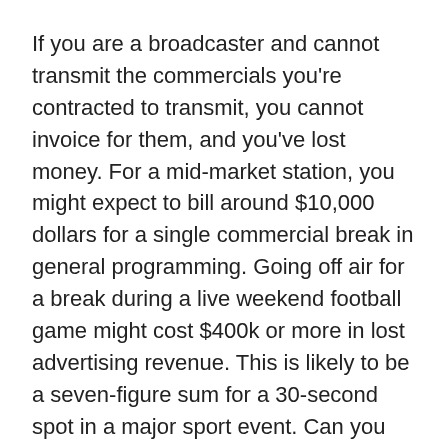If you are a broadcaster and cannot transmit the commercials you're contracted to transmit, you cannot invoice for them, and you've lost money. For a mid-market station, you might expect to bill around $10,000 dollars for a single commercial break in general programming. Going off air for a break during a live weekend football game might cost $400k or more in lost advertising revenue. This is likely to be a seven-figure sum for a 30-second spot in a major sport event. Can you afford to risk that loss of income?
Outages also affect brand value. You work to ensure a premium viewing experience for your viewers, because going off-air negatively impacts your brand. This has the potential to impact your ratings and market share, as audiences switch to more reliable